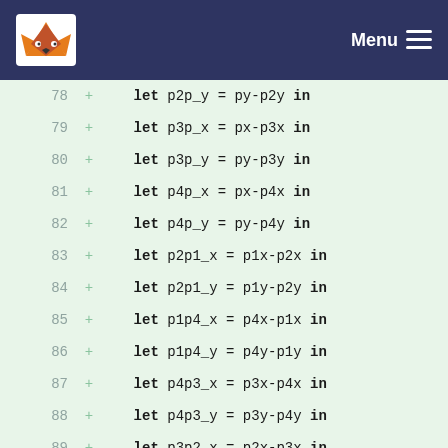Menu
78 + let p2p_y = py-p2y in
79 + let p3p_x = px-p3x in
80 + let p3p_y = py-p3y in
81 + let p4p_x = px-p4x in
82 + let p4p_y = py-p4y in
83 + let p2p1_x = p1x-p2x in
84 + let p2p1_y = p1y-p2y in
85 + let p1p4_x = p4x-p1x in
86 + let p1p4_y = p4y-p1y in
87 + let p4p3_x = p3x-p4x in
88 + let p4p3_y = p3y-p4y in
89 + let p3p2_x = p2x-p3x in
90 + let p3p2_y = p2y-p3y in
91 + cross_product(p2p1_x, p2p1_y, p2p_x, p2p_y) < 0.0 and -- p2p1 ^ p2p < 0
92 + cross_product(p1p4_x, p1p4_y, p1p_x, p1p_y) < 0.0 and -- p1p4 ^ p1p < 0
93 + cross_product(p4p3_x,